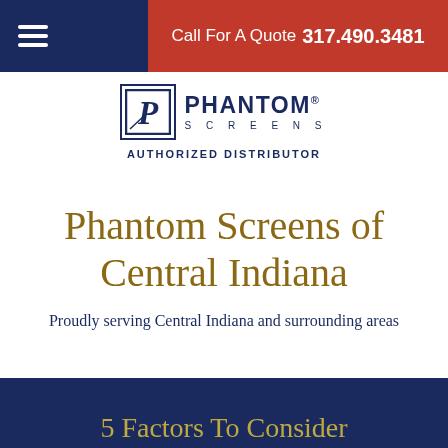Call For A Quote 317.490.3481
[Figure (logo): Phantom Screens logo with stylized P in a box, company name and AUTHORIZED DISTRIBUTOR text]
Phantom Screens of Central Indiana
Proudly serving Central Indiana and surrounding areas
5 Factors To Consider